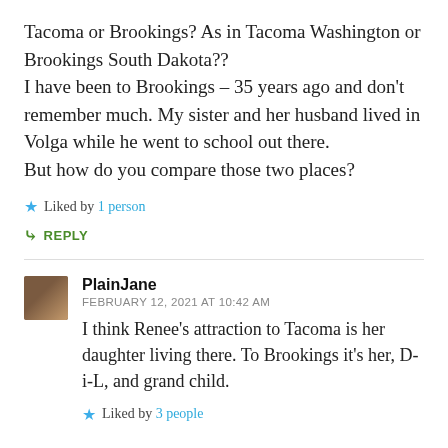Tacoma or Brookings? As in Tacoma Washington or Brookings South Dakota??
I have been to Brookings – 35 years ago and don't remember much. My sister and her husband lived in Volga while he went to school out there.
But how do you compare those two places?
Liked by 1 person
REPLY
PlainJane
FEBRUARY 12, 2021 AT 10:42 AM
I think Renee's attraction to Tacoma is her daughter living there. To Brookings it's her, D-i-L, and grand child.
Liked by 3 people